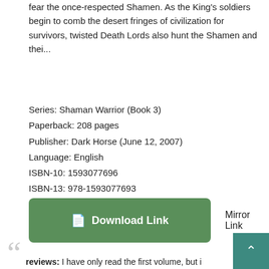fear the once-respected Shamen. As the King's soldiers begin to comb the desert fringes of civilization for survivors, twisted Death Lords also hunt the Shamen and thei...
Series: Shaman Warrior (Book 3)
Paperback: 208 pages
Publisher: Dark Horse (June 12, 2007)
Language: English
ISBN-10: 1593077696
ISBN-13: 978-1593077693
Product Dimensions: 5.8 x 0.7 x 8.2 inches
Amazon Rank: 1247852
Format: PDF ePub djvu ebook
[Figure (other): Green download button with file icon labeled 'Download Link' and a 'Mirror Link' text beside it]
[Figure (other): Teal scroll-to-top button with upward chevron arrow in bottom right corner]
reviews: I have only read the first volume, but i